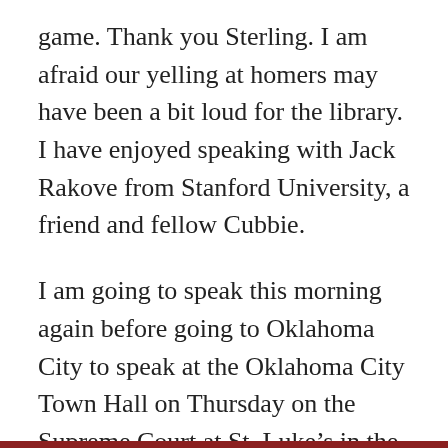game. Thank you Sterling. I am afraid our yelling at homers may have been a bit loud for the library. I have enjoyed speaking with Jack Rakove from Stanford University, a friend and fellow Cubbie.
I am going to speak this morning again before going to Oklahoma City to speak at the Oklahoma City Town Hall on Thursday on the Supreme Court at St. Luke’s in the afternoon.